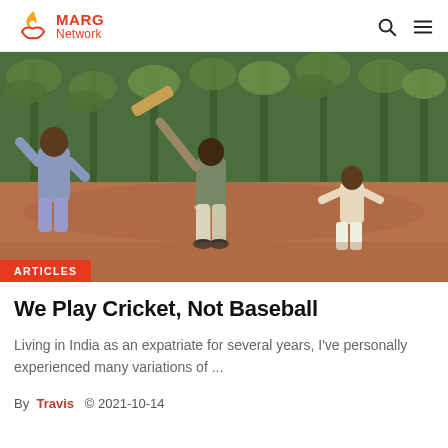MARG Network
[Figure (photo): Outdoor cricket scene on red dirt ground with banana trees in background. A batsman is mid-swing, a fielder stands ready, and another player is visible on the left. Red 'ARTICLES' badge overlays bottom-left corner.]
We Play Cricket, Not Baseball
Living in India as an expatriate for several years, I've personally experienced many variations of ...
By Travis  © 2021-10-14